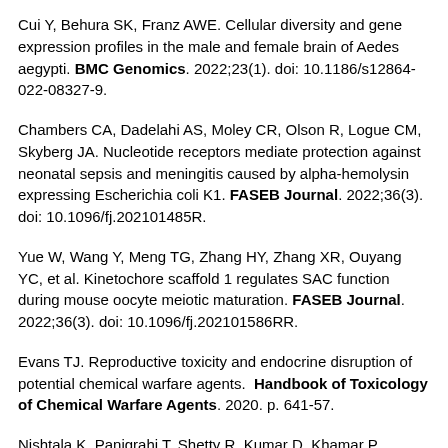Cui Y, Behura SK, Franz AWE. Cellular diversity and gene expression profiles in the male and female brain of Aedes aegypti. BMC Genomics. 2022;23(1). doi: 10.1186/s12864-022-08327-9.
Chambers CA, Dadelahi AS, Moley CR, Olson R, Logue CM, Skyberg JA. Nucleotide receptors mediate protection against neonatal sepsis and meningitis caused by alpha-hemolysin expressing Escherichia coli K1. FASEB Journal. 2022;36(3). doi: 10.1096/fj.202101485R.
Yue W, Wang Y, Meng TG, Zhang HY, Zhang XR, Ouyang YC, et al. Kinetochore scaffold 1 regulates SAC function during mouse oocyte meiotic maturation. FASEB Journal. 2022;36(3). doi: 10.1096/fj.202101586RR.
Evans TJ. Reproductive toxicity and endocrine disruption of potential chemical warfare agents. Handbook of Toxicology of Chemical Warfare Agents. 2020. p. 641-57.
Nishtala K, Panigrahi T, Shetty R, Kumar D, Khamar P,